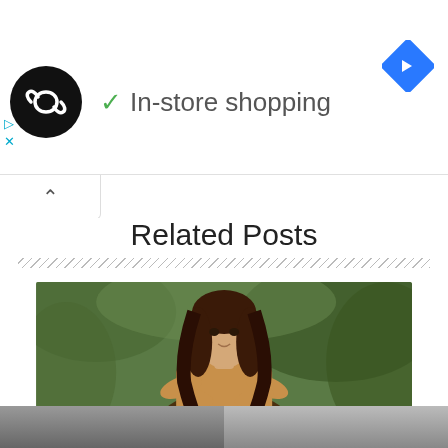[Figure (screenshot): Ad banner with circular black logo with infinity-like icon, green checkmark with 'In-store shopping' text, and blue diamond navigation icon on right]
Related Posts
[Figure (photo): Photo of Kajal Aggarwal, a woman with long brown hair wearing a tan top, arms crossed, with green foliage background]
Kajal Aggarwal Filmography, Roles, Verdict (Hit / Flop), Box Office Collection, And Others
[Figure (photo): Partial images of two more related post thumbnails at bottom of page]